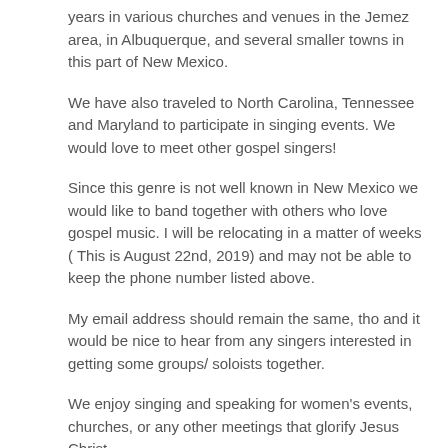years in various churches and venues in the Jemez area, in Albuquerque, and several smaller towns in this part of New Mexico.
We have also traveled to North Carolina, Tennessee and Maryland to participate in singing events. We would love to meet other gospel singers!
Since this genre is not well known in New Mexico we would like to band together with others who love gospel music. I will be relocating in a matter of weeks ( This is August 22nd, 2019) and may not be able to keep the phone number listed above.
My email address should remain the same, tho and it would be nice to hear from any singers interested in getting some groups/ soloists together.
We enjoy singing and speaking for women's events, churches, or any other meetings that glorify Jesus Christ.
Rochelle Thrasher-Chisolm